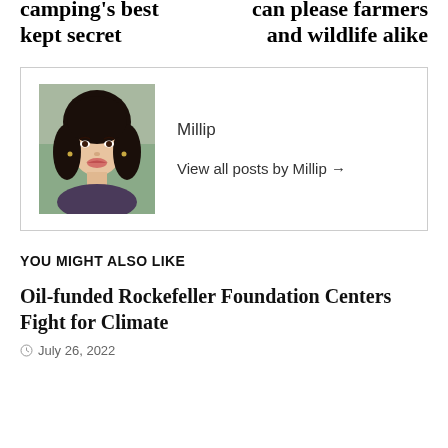camping's best kept secret
can please farmers and wildlife alike
Millip
View all posts by Millip →
YOU MIGHT ALSO LIKE
Oil-funded Rockefeller Foundation Centers Fight for Climate
July 26, 2022